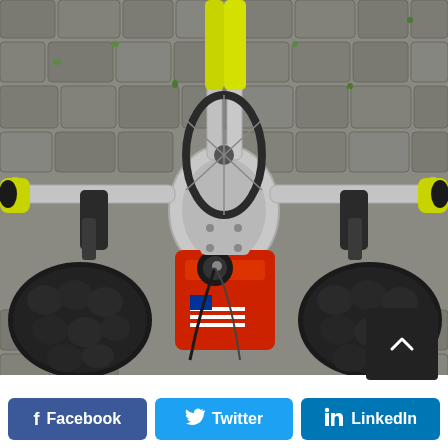[Figure (photo): Top-down view of a bicycle with yellow handlebar grips and ergonomic padded arm rests on the handlebars, photographed from above on a cobblestone street. The bike has a silver frame, a wheel visible in the center, and red body components with an American flag decal.]
Facebook  Twitter  LinkedIn